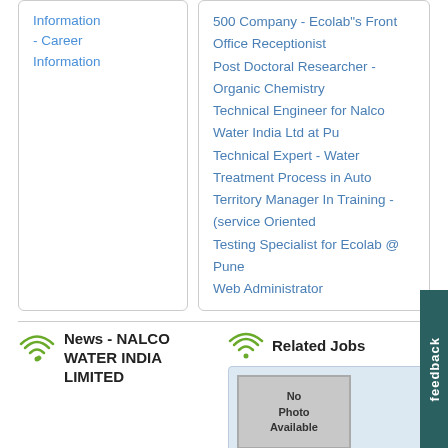Information - Career Information
500 Company - Ecolab"s Front Office Receptionist
Post Doctoral Researcher - Organic Chemistry
Technical Engineer for Nalco Water India Ltd at Pu
Technical Expert - Water Treatment Process in Auto
Territory Manager In Training - (service Oriented
Testing Specialist for Ecolab @ Pune
Web Administrator
News - NALCO WATER INDIA LIMITED
Related Jobs
[Figure (other): No Photo Available placeholder image]
Receptionist/Admin
Duties:* Reception Duties &amp; Answering of Phone Cal ...
[more]